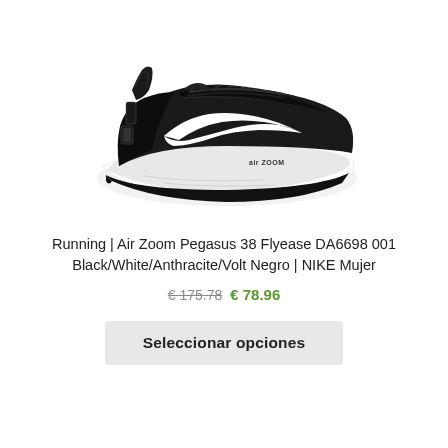[Figure (photo): Nike Air Zoom Pegasus 38 Flyease running shoe, black upper with white Swoosh logo and white midsole, lateral view on white background]
Running | Air Zoom Pegasus 38 Flyease DA6698 001 Black/White/Anthracite/Volt Negro | NIKE Mujer
€ 175.78  € 78.96
Seleccionar opciones